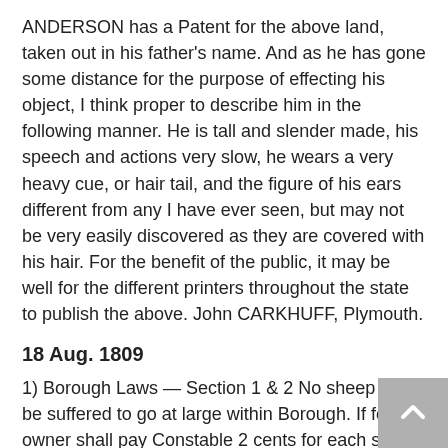ANDERSON has a Patent for the above land, taken out in his father's name. And as he has gone some distance for the purpose of effecting his object, I think proper to describe him in the following manner. He is tall and slender made, his speech and actions very slow, he wears a very heavy cue, or hair tail, and the figure of his ears different from any I have ever seen, but may not be very easily discovered as they are covered with his hair. For the benefit of the public, it may be well for the different printers throughout the state to publish the above. John CARKHUFF, Plymouth.
18 Aug. 1809
1) Borough Laws — Section 1 & 2 No sheep shall be suffered to go at large within Borough. If found, owner shall pay Constable 2 cents for each sheep for his trouble. If no owner can be found after five days notice by advertisements, they shall be placed at public vendue for the best price. Passed Aug. 15th
2) Act to Establish a Public Lumber Yard in the Borough